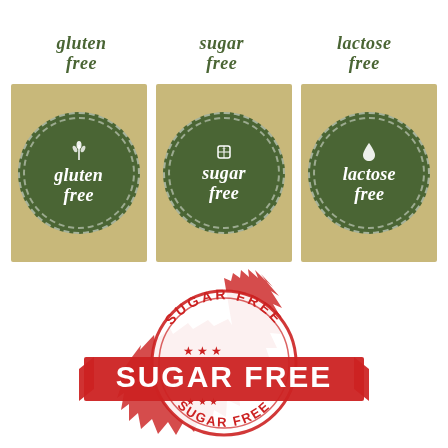[Figure (illustration): Three script-style text labels in olive green reading 'gluten free', 'sugar free', 'lactose free' arranged in a row at the top]
[Figure (illustration): Three circular badge icons on kraft paper background: gluten free (wheat icon), sugar free (sugar cube icon), lactose free (milk drop icon) — all olive green circles with white italic text]
[Figure (illustration): Large red distressed rubber stamp seal reading 'SUGAR FREE' with gear-like border and banner overlay also reading 'SUGAR FREE' in large bold letters]